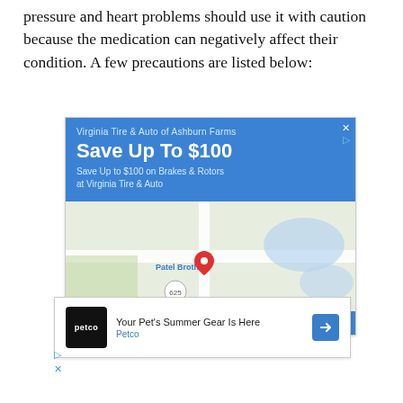pressure and heart problems should use it with caution because the medication can negatively affect their condition. A few precautions are listed below:
[Figure (screenshot): Advertisement for Virginia Tire & Auto of Ashburn Farms showing 'Save Up To $100' on brakes and rotors, with a Google Maps view showing the location near Patel Brothers and route 625, plus store info and directions buttons at the bottom.]
[Figure (screenshot): Advertisement for Petco showing 'Your Pet's Summer Gear Is Here' with Petco logo and a blue navigation arrow icon.]